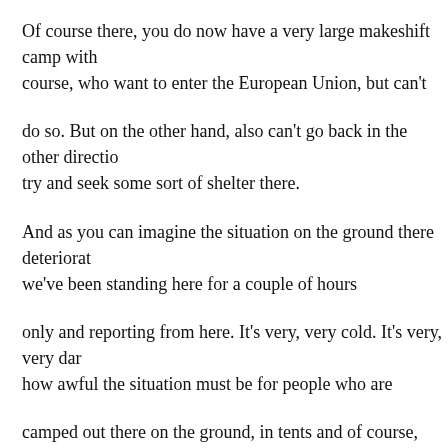Of course there, you do now have a very large makeshift camp with course, who want to enter the European Union, but can't
do so. But on the other hand, also can't go back in the other directio... try and seek some sort of shelter there.
And as you can imagine the situation on the ground there deteriorat... we've been standing here for a couple of hours
only and reporting from here. It's very, very cold. It's very, very dar... how awful the situation must be for people who are
camped out there on the ground, in tents and of course, looking for... and make a fire to stay warm somehow.
And the border region here on the side that I am on the Polish side...